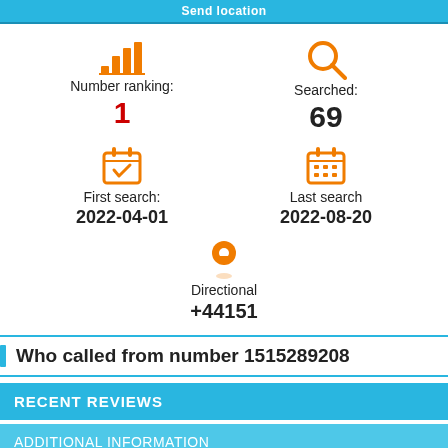Send location
Number ranking: 1
Searched: 69
First search: 2022-04-01
Last search: 2022-08-20
Directional +44151
Who called from number 1515289208
RECENT REVIEWS
ADDITIONAL INFORMATION